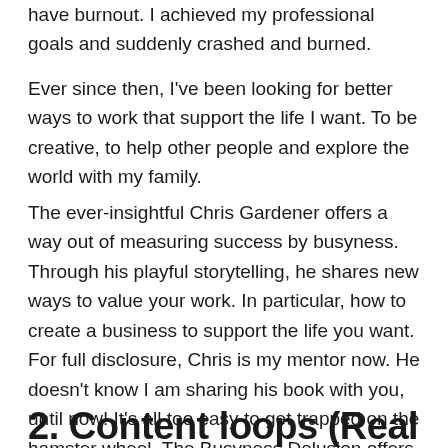have burnout. I achieved my professional goals and suddenly crashed and burned.
Ever since then, I've been looking for better ways to work that support the life I want. To be creative, to help other people and explore the world with my family.
The ever-insightful Chris Gardener offers a way out of measuring success by busyness. Through his playful storytelling, he shares new ways to value your work. In particular, how to create a business to support the life you want. For full disclosure, Chris is my mentor now. He doesn't know I am sharing his book with you, until now! It's all too easy to get trapped on the hamster wheel. The Busyness Delusion offers you the opportunity to break free from it. Click here.
2. Content loops (Real Fab